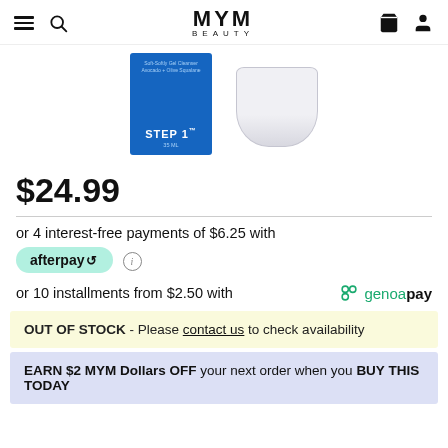MYM BEAUTY
[Figure (photo): Two beauty products: a blue rectangular container labeled Step 1 with Avocado + Olive Squalane, and a white ceramic pot.]
$24.99
or 4 interest-free payments of $6.25 with afterpay
or 10 installments from $2.50 with genoapay
OUT OF STOCK - Please contact us to check availability
EARN $2 MYM Dollars OFF your next order when you BUY THIS TODAY